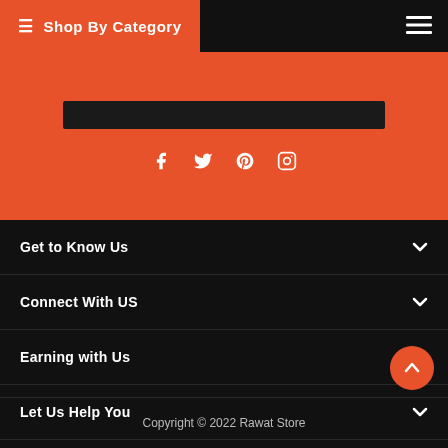≡ Shop By Category
[Figure (other): Social media icons: Facebook, Twitter, Pinterest, Instagram on orange background]
Get to Know Us
Connect With US
Earning with Us
Let Us Help You
Product tags :
Copyright © 2022 Rawat Store